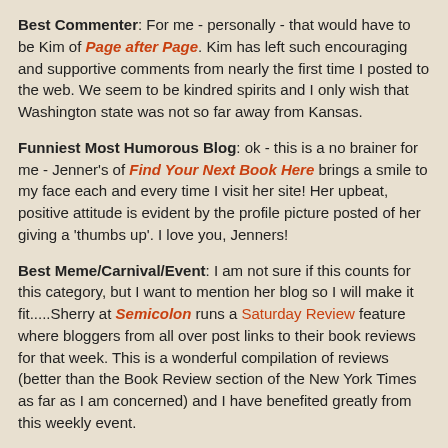Best Commenter: For me - personally - that would have to be Kim of Page after Page. Kim has left such encouraging and supportive comments from nearly the first time I posted to the web. We seem to be kindred spirits and I only wish that Washington state was not so far away from Kansas.
Funniest Most Humorous Blog: ok - this is a no brainer for me - Jenner's of Find Your Next Book Here brings a smile to my face each and every time I visit her site! Her upbeat, positive attitude is evident by the profile picture posted of her giving a 'thumbs up'. I love you, Jenners!
Best Meme/Carnival/Event: I am not sure if this counts for this category, but I want to mention her blog so I will make it fit.....Sherry at Semicolon runs a Saturday Review feature where bloggers from all over post links to their book reviews for that week. This is a wonderful compilation of reviews (better than the Book Review section of the New York Times as far as I am concerned) and I have benefited greatly from this weekly event.
Best New Blog: I am not exactly sure what constitutes...